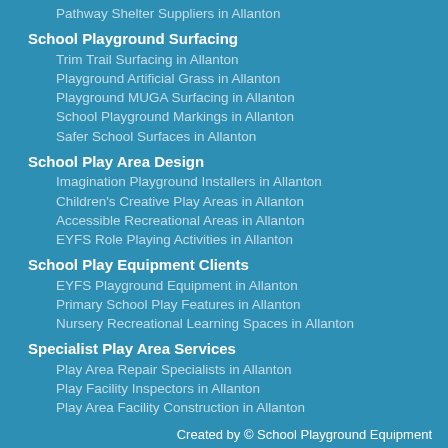Pathway Shelter Suppliers in Allanton
School Playground Surfacing
Trim Trail Surfacing in Allanton
Playground Artificial Grass in Allanton
Playground MUGA Surfacing in Allanton
School Playground Markings in Allanton
Safer School Surfaces in Allanton
School Play Area Design
Imagination Playground Installers in Allanton
Children's Creative Play Areas in Allanton
Accessible Recreational Areas in Allanton
EYFS Role Playing Activities in Allanton
School Play Equipment Clients
EYFS Playground Equipment in Allanton
Primary School Play Features in Allanton
Nursery Recreational Learning Spaces in Allanton
Specialist Play Area Services
Play Area Repair Specialists in Allanton
Play Facility Inspectors in Allanton
Play Area Facility Construction in Allanton
Created by © School Playground Equipment